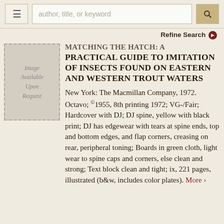author, title, or keyword [search bar] [Refine Search]
[Figure (illustration): Gray placeholder box with dashed border and italic text reading 'Image Available Upon Request']
MATCHING THE HATCH: A PRACTICAL GUIDE TO IMITATION OF INSECTS FOUND ON EASTERN AND WESTERN TROUT WATERS
New York: The Macmillan Company, 1972. Octavo; ©1955, 8th printing 1972; VG-/Fair; Hardcover with DJ; DJ spine, yellow with black print; DJ has edgewear with tears at spine ends, top and bottom edges, and flap corners, creasing on rear, peripheral toning; Boards in green cloth, light wear to spine caps and corners, else clean and strong; Text block clean and tight; ix, 221 pages, illustrated (b&w, includes color plates). More >